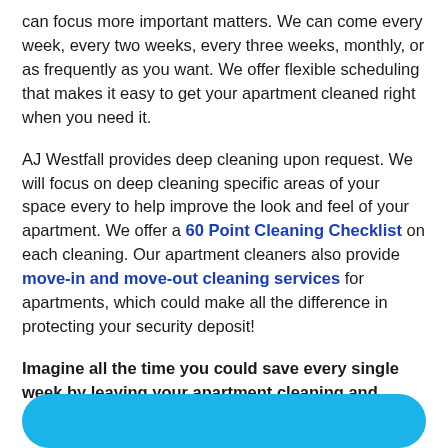can focus more important matters. We can come every week, every two weeks, every three weeks, monthly, or as frequently as you want. We offer flexible scheduling that makes it easy to get your apartment cleaned right when you need it.
AJ Westfall provides deep cleaning upon request. We will focus on deep cleaning specific areas of your space every to help improve the look and feel of your apartment. We offer a 60 Point Cleaning Checklist on each cleaning. Our apartment cleaners also provide move-in and move-out cleaning services for apartments, which could make all the difference in protecting your security deposit!
Imagine all the time you could save every single week by leaving your apartment cleaning and sanitizing to AJ Westfall Cleaning Company.
[Figure (other): Teal/cyan rounded rectangle button at the bottom of the page]